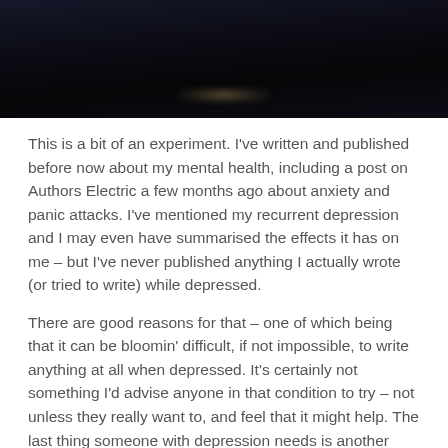[Figure (photo): Dark night-time photograph, mostly black with faint light reflection near the bottom center]
This is a bit of an experiment. I've written and published before now about my mental health, including a post on Authors Electric a few months ago about anxiety and panic attacks. I've mentioned my recurrent depression and I may even have summarised the effects it has on me – but I've never published anything I actually wrote (or tried to write) while depressed.
There are good reasons for that – one of which being that it can be bloomin' difficult, if not impossible, to write anything at all when depressed. It's certainly not something I'd advise anyone in that condition to try – not unless they really want to, and feel that it might help. The last thing someone with depression needs is another thing that he or she 'should' do. Depression is enough of a burden and a severe taskmaster